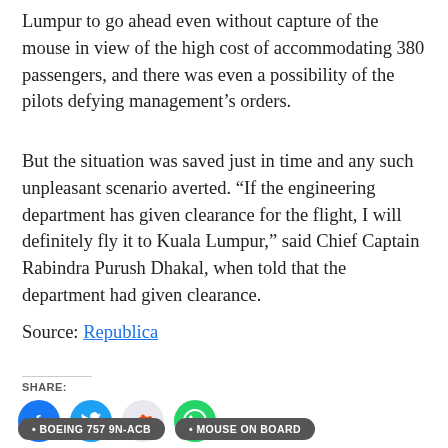Lumpur to go ahead even without capture of the mouse in view of the high cost of accommodating 380 passengers, and there was even a possibility of the pilots defying management’s orders.
But the situation was saved just in time and any such unpleasant scenario averted. “If the engineering department has given clearance for the flight, I will definitely fly it to Kuala Lumpur,” said Chief Captain Rabindra Purush Dhakal, when told that the department had given clearance.
Source: Republica
SHARE:
[Figure (infographic): Four social sharing buttons: Facebook (blue circle with f icon), Twitter (blue circle with bird icon), Reddit (light gray circle with alien icon), WhatsApp (green circle with phone icon)]
• BOEING 757 9N-ACB  • MOUSE ON BOARD